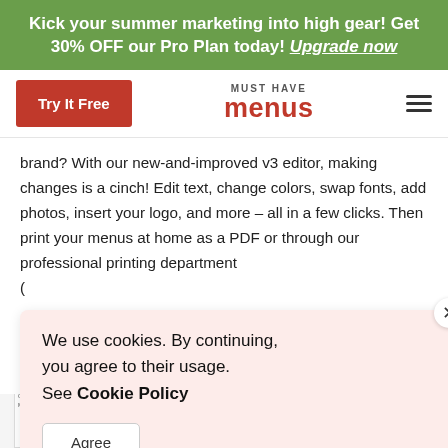Kick your summer marketing into high gear! Get 30% OFF our Pro Plan today! Upgrade now
[Figure (screenshot): Must Have Menus website navigation bar with Try It Free button, logo, and hamburger menu]
brand? With our new-and-improved v3 editor, making changes is a cinch! Edit text, change colors, swap fonts, add photos, insert your logo, and more -- all in a few clicks. Then print your menus at home as a PDF or through our professional printing department
We use cookies. By continuing, you agree to their usage. See Cookie Policy
[Figure (screenshot): Bottom strip showing menu thumbnails and cocktail hour menu cover]